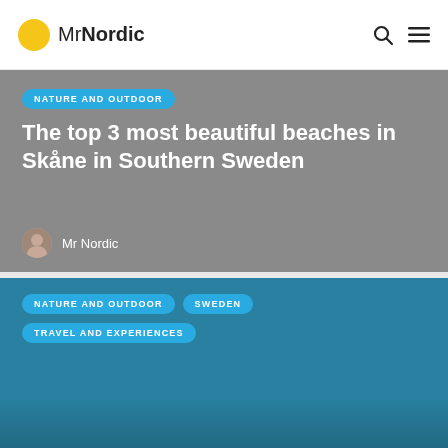MrNordic
NATURE AND OUTDOOR
The top 3 most beautiful beaches in Skåne in Southern Sweden
Mr Nordic
NATURE AND OUTDOOR  SWEDEN  TRAVEL AND EXPERIENCES